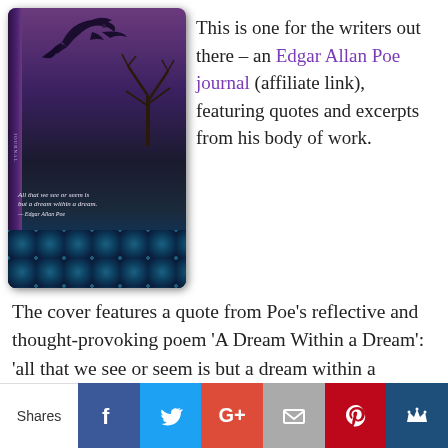[Figure (photo): Edgar Allan Poe themed journal book cover showing a raven flying over a dark gothic landscape with bare trees, a quote from 'A Dream Within a Dream', and decorative blue floral pattern at bottom]
This is one for the writers out there – an Edgar Allan Poe journal (affiliate link), featuring quotes and excerpts from his body of work.
The cover features a quote from Poe's reflective and thought-provoking poem 'A Dream Within a Dream': 'all that we see or seem is but a dream within a dream'.
With Poe quotes interspersed within the pages themselves, this should really help get the creative
Shares | Facebook | Twitter | G+ | Email | Pinterest | Crown